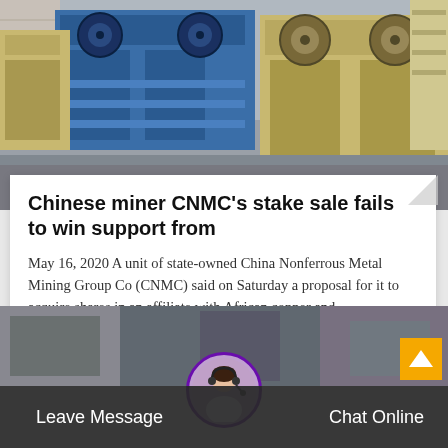[Figure (photo): Industrial mining machinery - large blue and yellow jaw crushers in a factory/warehouse setting]
Chinese miner CNMC's stake sale fails to win support from
May 16, 2020 A unit of state-owned China Nonferrous Metal Mining Group Co (CNMC) said on Saturday a proposal for it to acquire shares in an affiliate with African copper and…
[Figure (photo): Industrial machinery in a factory setting, partially visible at the bottom of the page]
Leave Message
Chat Online